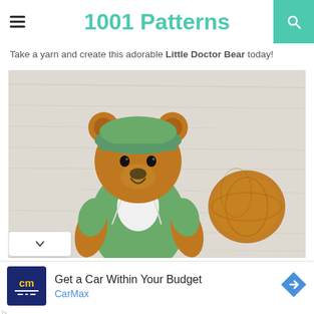1001 Patterns
Take a yarn and create this adorable Little Doctor Bear today!
[Figure (photo): A knitted teddy bear wearing a green surgeon's cap and green medical outfit with a white apron bib, sitting next to a ball of orange yarn on a white wood background.]
Get a Car Within Your Budget
CarMax